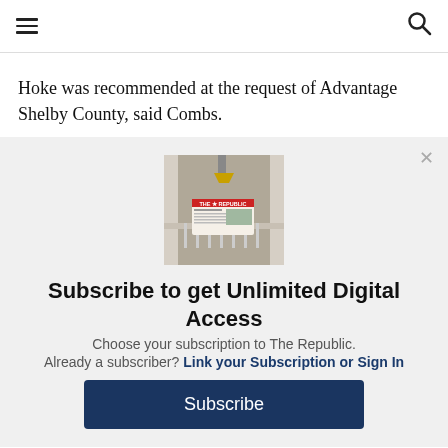Navigation bar with hamburger menu and search icon
Hoke was recommended at the request of Advantage Shelby County, said Combs.
[Figure (photo): Photo of a newspaper (The Republic) on a porch railing of a house]
Subscribe to get Unlimited Digital Access
Choose your subscription to The Republic.
Already a subscriber? Link your Subscription or Sign In
Subscribe